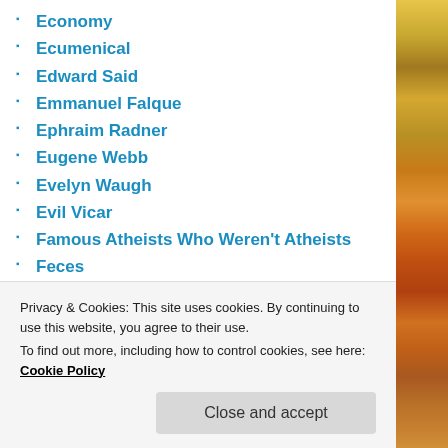Economy
Ecumenical
Edward Said
Emmanuel Falque
Ephraim Radner
Eugene Webb
Evelyn Waugh
Evil Vicar
Famous Atheists Who Weren't Atheists
Feces
Forgiveness
Fortnight Prayer
Franz Wright
Free Stuff
Privacy & Cookies: This site uses cookies. By continuing to use this website, you agree to their use.
To find out more, including how to control cookies, see here: Cookie Policy
Close and accept